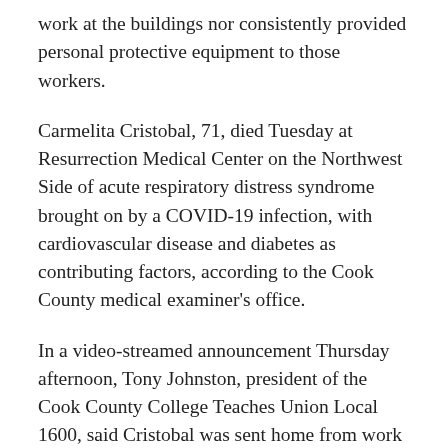work at the buildings nor consistently provided personal protective equipment to those workers.
Carmelita Cristobal, 71, died Tuesday at Resurrection Medical Center on the Northwest Side of acute respiratory distress syndrome brought on by a COVID-19 infection, with cardiovascular disease and diabetes as contributing factors, according to the Cook County medical examiner's office.
In a video-streamed announcement Thursday afternoon, Tony Johnston, president of the Cook County College Teaches Union Local 1600, said Cristobal was sent home from work after potentially interacting with other employees on March 16.